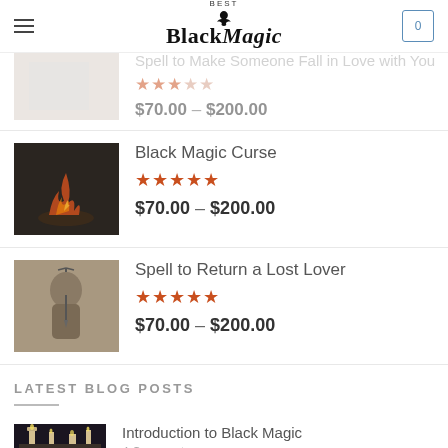Best Black Magic — navigation header with cart
Spell to Make Someone Fall in Love with You — $70.00 – $200.00 (partial, top)
Black Magic Curse
★★★★★
$70.00 – $200.00
Spell to Return a Lost Lover
★★★★★
$70.00 – $200.00
LATEST BLOG POSTS
Introduction to Black Magic
4 Comments
What will happen after Your Spell has been Cast?